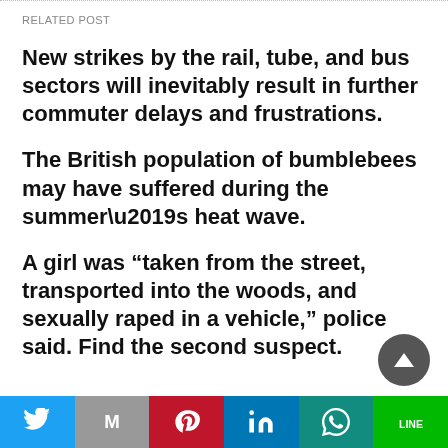RELATED POST
New strikes by the rail, tube, and bus sectors will inevitably result in further commuter delays and frustrations.
The British population of bumblebees may have suffered during the summer’s heat wave.
A girl was “taken from the street, transported into the woods, and sexually raped in a vehicle,” police said. Find the second suspect.